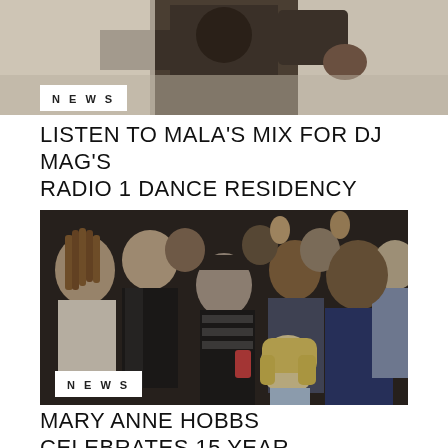[Figure (photo): Top cropped photo of a person in dark clothing, outdoor background]
NEWS
LISTEN TO MALA'S MIX FOR DJ MAG'S RADIO 1 DANCE RESIDENCY
[Figure (photo): Group photo of many people at an indoor event, one blonde woman in front]
NEWS
MARY ANNE HOBBS CELEBRATES 15 YEAR ANNIVERSARY OF DUBSTEP WARZ WITH RADIO SPECIAL: LISTEN